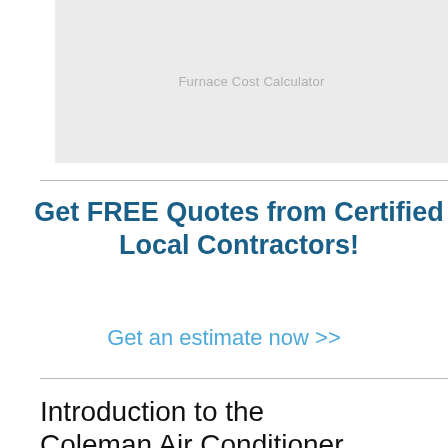[Figure (screenshot): Furnace Cost Calculator tool placeholder image with grey background]
Furnace Cost Calculator
Get FREE Quotes from Certified Local Contractors!
Get an estimate now >>
Introduction to the Coleman Air Conditioner